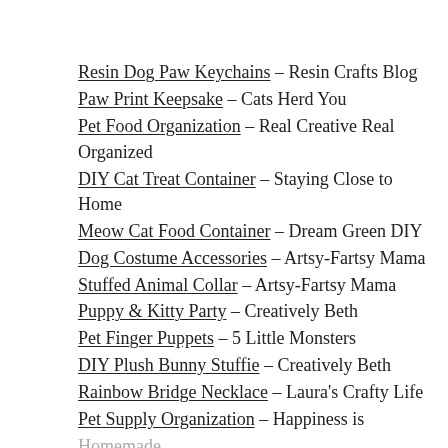Resin Dog Paw Keychains - Resin Crafts Blog
Paw Print Keepsake - Cats Herd You
Pet Food Organization - Real Creative Real Organized
DIY Cat Treat Container - Staying Close to Home
Meow Cat Food Container - Dream Green DIY
Dog Costume Accessories - Artsy-Fartsy Mama
Stuffed Animal Collar - Artsy-Fartsy Mama
Puppy & Kitty Party - Creatively Beth
Pet Finger Puppets - 5 Little Monsters
DIY Plush Bunny Stuffie - Creatively Beth
Rainbow Bridge Necklace - Laura's Crafty Life
Pet Supply Organization - Happiness is Homemade
Watercolor Dog Painting - Me & My Inklings